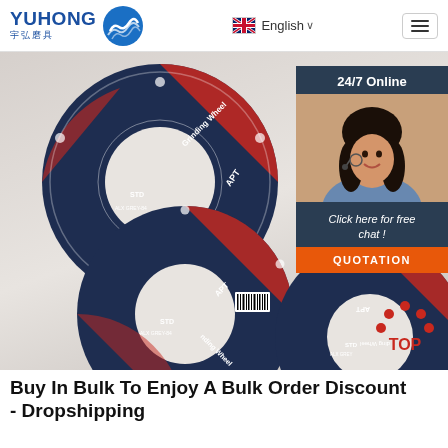YUHONG 宇弘磨具 | English ☰
[Figure (photo): Product photo of multiple grinding wheels (dark navy/red/white) labeled 'APT Grinding Wheel STD' overlapping each other on a light background, with a live chat overlay in the top right showing '24/7 Online', a photo of a customer service woman, text 'Click here for free chat!', and an orange QUOTATION button. A red 'TOP' icon is in the bottom right corner.]
Buy In Bulk To Enjoy A Bulk Order Discount - Dropshipping